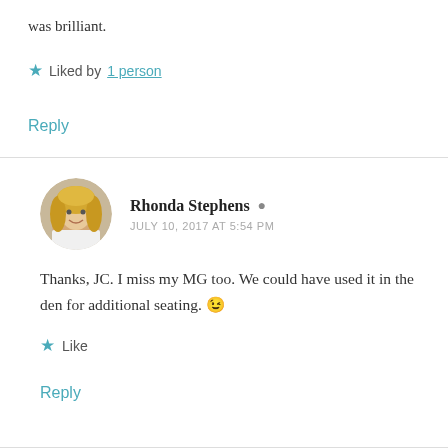was brilliant.
★ Liked by 1 person
Reply
Rhonda Stephens
JULY 10, 2017 AT 5:54 PM
Thanks, JC. I miss my MG too. We could have used it in the den for additional seating. 😉
★ Like
Reply